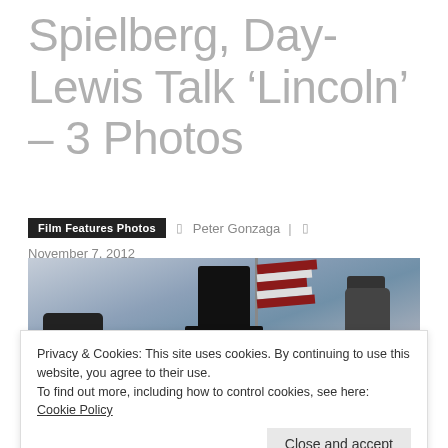Spielberg, Day-Lewis Talk ‘Lincoln’ – 3 Photos
Film Features Photos  |  Peter Gonzaga | November 7, 2012
[Figure (photo): Movie still from Lincoln (2012) showing a figure in a top hat, likely Daniel Day-Lewis as Abraham Lincoln, with an American flag in the background and other figures in Civil War era attire.]
Privacy & Cookies: This site uses cookies. By continuing to use this website, you agree to their use.
To find out more, including how to control cookies, see here: Cookie Policy
Close and accept